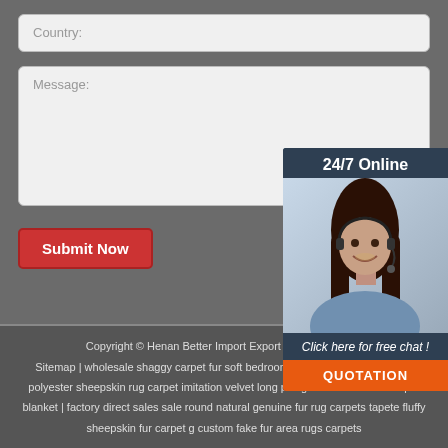Country:
Message:
Submit Now
[Figure (illustration): Chat widget with 24/7 Online support agent photo, 'Click here for free chat!' text, and QUOTATION button]
Copyright © Henan Better Import Export Trading | Sitemap | wholesale shaggy carpet fur soft bedroom s... plush area rugs | 100 polyester sheepskin rug carpet imitation velvet long pile genuine fur fabric carpet blanket | factory direct sales sale round natural genuine fur rug carpets tapete fluffy sheepskin fur carpet g custom fake fur area rugs carpets